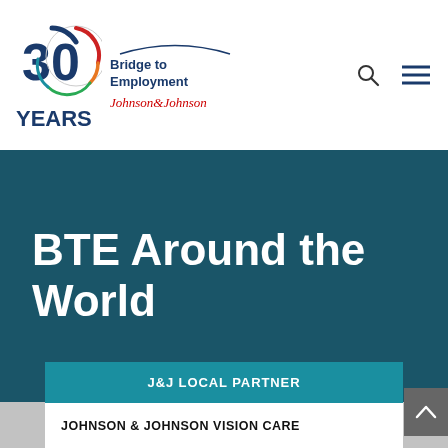[Figure (logo): 30 Years Bridge to Employment Johnson & Johnson logo with colorful circular design]
BTE Around the World
J&J LOCAL PARTNER
JOHNSON & JOHNSON VISION CARE